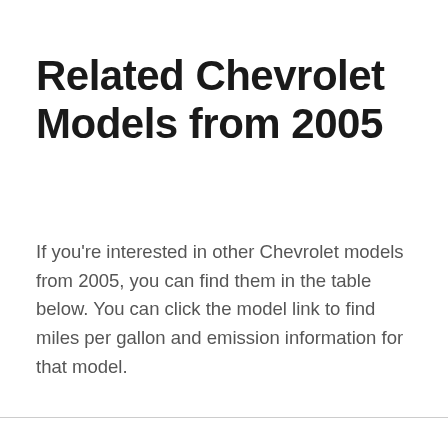Related Chevrolet Models from 2005
If you're interested in other Chevrolet models from 2005, you can find them in the table below. You can click the model link to find miles per gallon and emission information for that model.